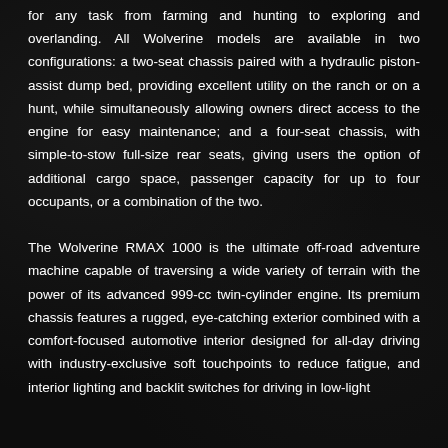for any task from farming and hunting to exploring and overlanding. All Wolverine models are available in two configurations: a two-seat chassis paired with a hydraulic piston-assist dump bed, providing excellent utility on the ranch or on a hunt, while simultaneously allowing owners direct access to the engine for easy maintenance; and a four-seat chassis, with simple-to-stow full-size rear seats, giving users the option of additional cargo space, passenger capacity for up to four occupants, or a combination of the two.

The Wolverine RMAX 1000 is the ultimate off-road adventure machine capable of traversing a wide variety of terrain with the power of its advanced 999-cc twin-cylinder engine. Its premium chassis features a rugged, eye-catching exterior combined with a comfort-focused automotive interior designed for all-day driving with industry-exclusive soft touchpoints to reduce fatigue, and interior lighting and backlit switches for driving in low-light